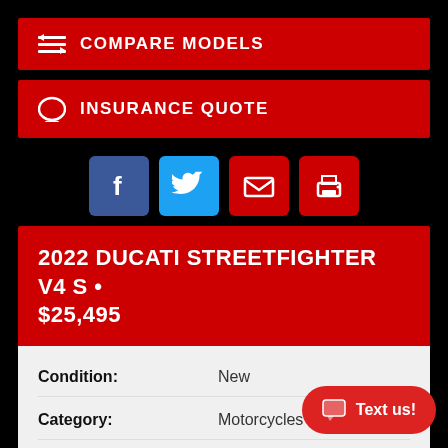COMPARE MODELS
INSURANCE QUOTE
[Figure (other): Social share buttons: Facebook, Twitter, Email, Print]
2022 DUCATI STREETFIGHTER V4 S • $25,495
| Field | Value |
| --- | --- |
| Condition: | New |
| Category: | Motorcycles |
| Model Type: | Streetfighter |